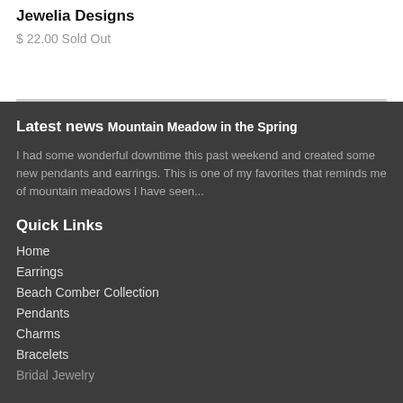Jewelia Designs
$ 22.00 Sold Out
Latest news
Mountain Meadow in the Spring
I had some wonderful downtime this past weekend and created some new pendants and earrings. This is one of my favorites that reminds me of mountain meadows I have seen...
Quick Links
Home
Earrings
Beach Comber Collection
Pendants
Charms
Bracelets
Bridal Jewelry